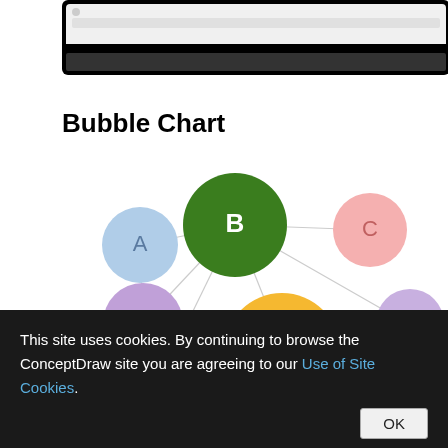[Figure (screenshot): Screenshot of a software interface at the top of the page with dark background border]
Bubble Chart
[Figure (network-graph): Bubble/network chart showing nodes labeled A (light blue), B (dark green, large), C (light pink), D (purple), E (orange, large), F (light purple), G (light yellow), and a partially visible green node. Nodes are connected by gray lines.]
This site uses cookies. By continuing to browse the ConceptDraw site you are agreeing to our Use of Site Cookies.